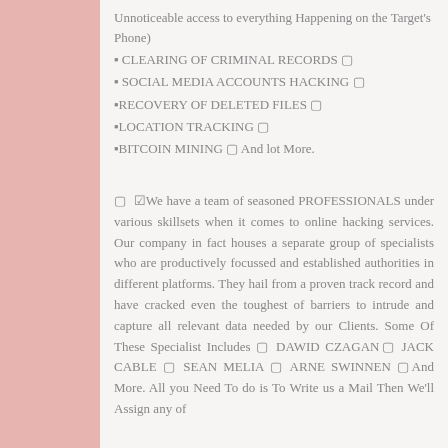Unnoticeable access to everything Happening on the Target's Phone)
▪ CLEARING OF CRIMINAL RECORDS 🔒
▪ SOCIAL MEDIA ACCOUNTS HACKING 🔒
▪RECOVERY OF DELETED FILES 🔒
▪LOCATION TRACKING 🔒
▪BITCOIN MINING 🔒 And lot More.
🔒 ☑We have a team of seasoned PROFESSIONALS under various skillsets when it comes to online hacking services. Our company in fact houses a separate group of specialists who are productively focussed and established authorities in different platforms. They hail from a proven track record and have cracked even the toughest of barriers to intrude and capture all relevant data needed by our Clients. Some Of These Specialist Includes 🔒 DAWID CZAGAN🔒 JACK CABLE 🔒 SEAN MELIA 🔒 ARNE SWINNEN 🔒And More. All you Need To do is To Write us a Mail Then We'll Assign any of